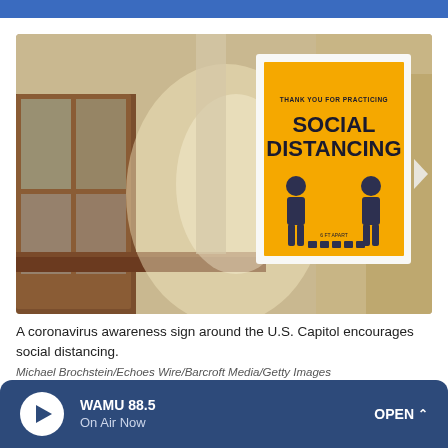[Figure (photo): A social distancing awareness sign with an orange background showing two person silhouettes and the text 'THANK YOU FOR PRACTICING SOCIAL DISTANCING', displayed on a wooden shelf inside what appears to be the U.S. Capitol building.]
A coronavirus awareness sign around the U.S. Capitol encourages social distancing.
Michael Brochstein/Echoes Wire/Barcroft Media/Getty Images
WAMU 88.5 On Air Now OPEN ^